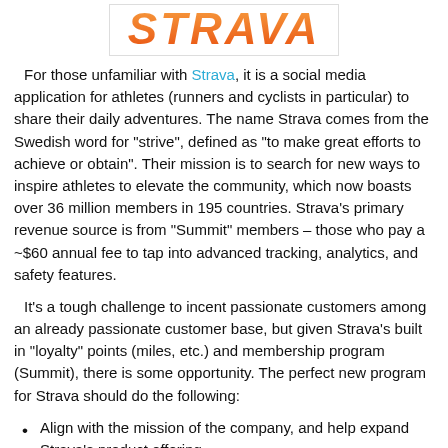[Figure (logo): Strava logo in orange bold italic text on white background with border]
For those unfamiliar with Strava, it is a social media application for athletes (runners and cyclists in particular) to share their daily adventures. The name Strava comes from the Swedish word for "strive", defined as "to make great efforts to achieve or obtain". Their mission is to search for new ways to inspire athletes to elevate the community, which now boasts over 36 million members in 195 countries. Strava's primary revenue source is from "Summit" members – those who pay a ~$60 annual fee to tap into advanced tracking, analytics, and safety features.
It's a tough challenge to incent passionate customers among an already passionate customer base, but given Strava's built in "loyalty" points (miles, etc.) and membership program (Summit), there is some opportunity. The perfect new program for Strava should do the following:
Align with the mission of the company, and help expand Strava's product offering